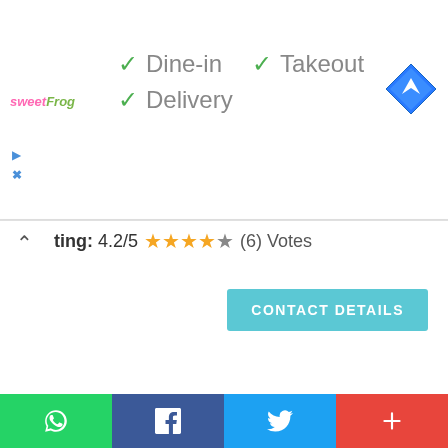[Figure (logo): sweetFrog logo in pink and green italic text]
✓ Dine-in  ✓ Takeout
✓ Delivery
[Figure (illustration): Blue diamond navigation/directions icon with white arrow]
ting: 4.2/5 ★★★★☆ (6) Votes
CONTACT DETAILS
[Figure (map): Google Maps view of Erode (ஈரோடு) area showing streets, Panner Selvam (PS) Park, Arulmigu Kabaalee temple, hospital markers, KAIKOLAR THOTTAM area]
[Figure (illustration): Bottom bar with WhatsApp, Facebook, Twitter and plus share buttons]